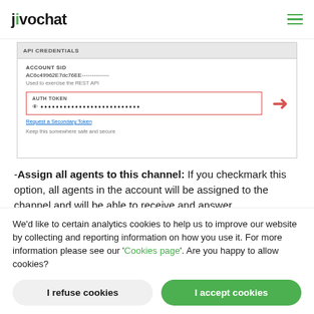jivochat
[Figure (screenshot): Screenshot of a Twilio API credentials panel showing ACCOUNT SID field (AC6c49962E7dc76EE...) and AUTH TOKEN field with dots and a red arrow pointing to it, plus a 'Request a Secondary Token' link and 'Keep this somewhere safe and secure' text.]
-Assign all agents to this channel: If you checkmark this option, all agents in the account will be assigned to the channel and will be able to receive and answer
We'd like to certain analytics cookies to help us to improve our website by collecting and reporting information on how you use it. For more information please see our 'Cookies page'. Are you happy to allow cookies?
I refuse cookies
I accept cookies